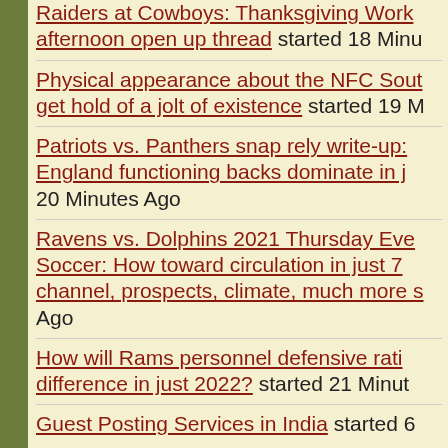Raiders at Cowboys: Thanksgiving Work afternoon open up thread started 18 Minutes Ago
Physical appearance about the NFC South get hold of a jolt of existence started 19 Minutes Ago
Patriots vs. Panthers snap rely write-up: England functioning backs dominate in just 20 Minutes Ago
Ravens vs. Dolphins 2021 Thursday Evening Soccer: How toward circulation in just 7 channel, prospects, climate, much more Ago
How will Rams personnel defensive rating difference in just 2022? started 21 Minutes Ago
Guest Posting Services in India started 6